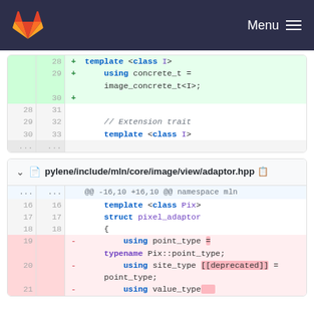[Figure (screenshot): GitLab navigation bar with fox logo and Menu hamburger button on dark navy background]
[Figure (screenshot): Git diff view showing code additions in green for lines 28-30 (template <class I>, using concrete_t = image_concrete_t<I>;, +) and context lines 28-30/31-33 with // Extension trait and template <class I>]
pylene/include/mln/core/image/view/adaptor.hpp
[Figure (screenshot): Git diff view for pylene/include/mln/core/image/view/adaptor.hpp showing hunk @@ -16,10 +16,10 @@ namespace mln with context lines 16-18 (template <class Pix>, struct pixel_adaptor, {) and deleted lines 19-20 (using point_type = typename Pix::point_type; using site_type [[deprecated]] = point_type;) and partial line 21 (using value_type)]